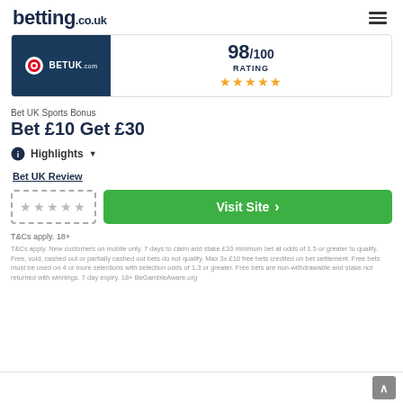betting.co.uk
[Figure (logo): BetUK.com logo on dark navy background with target/bullseye icon]
98/100 RATING ★★★★★
Bet UK Sports Bonus
Bet £10 Get £30
ℹ Highlights ▼
Bet UK Review
★★★★★
Visit Site ›
T&Cs apply. 18+
T&Cs apply. New customers on mobile only. 7 days to claim and stake £10 minimum bet at odds of 1.5 or greater to qualify. Free, void, cashed out or partially cashed out bets do not qualify. Max 3x £10 free bets credited on bet settlement. Free bets must be used on 4 or more selections with selection odds of 1.3 or greater. Free bets are non-withdrawable and stake not returned with winnings. 7 day expiry. 18+ BeGambleAware.org
↑